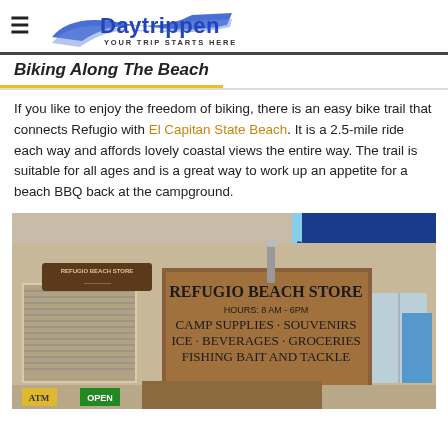Daytrippen — YOUR TRIP STARTS HERE
Biking Along The Beach
If you like to enjoy the freedom of biking, there is an easy bike trail that connects Refugio with El Capitan State Beach. It is a 2.5-mile ride each way and affords lovely coastal views the entire way. The trail is suitable for all ages and is a great way to work up an appetite for a beach BBQ back at the campground.
[Figure (photo): Exterior of Refugio Beach Store building with hand-painted sign reading: REFUGIO BEACH STORE HOURS: 8 AM - 6PM CAMP SUPPLIES · SOUVENIRS ICE · BEVERAGES · GROCERIES FISHING BAIT AND TACKLE. The building has a beige/tan facade with blue awning at top right, windows with blinds on the left, and an ATM and OPEN sign visible at the bottom left.]